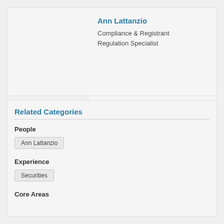[Figure (photo): Professional headshot of Ann Lattanzio, a woman with dark shoulder-length hair, smiling, wearing a dark top with a necklace, against a neutral gray background.]
Ann Lattanzio
Compliance & Registrant Regulation Specialist
Related Categories
People
Ann Lattanzio
Experience
Securities
Core Areas